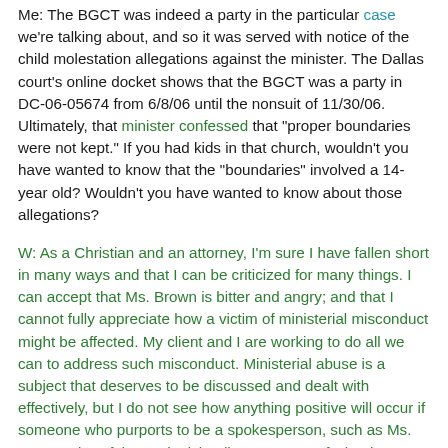Me: The BGCT was indeed a party in the particular case we're talking about, and so it was served with notice of the child molestation allegations against the minister. The Dallas court's online docket shows that the BGCT was a party in DC-06-05674 from 6/8/06 until the nonsuit of 11/30/06. Ultimately, that minister confessed that "proper boundaries were not kept." If you had kids in that church, wouldn't you have wanted to know that the "boundaries" involved a 14-year old? Wouldn't you have wanted to know about those allegations?
W: As a Christian and an attorney, I'm sure I have fallen short in many ways and that I can be criticized for many things. I can accept that Ms. Brown is bitter and angry; and that I cannot fully appreciate how a victim of ministerial misconduct might be affected. My client and I are working to do all we can to address such misconduct. Ministerial abuse is a subject that deserves to be discussed and dealt with effectively, but I do not see how anything positive will occur if someone who purports to be a spokesperson, such as Ms. Brown, gives false and misleading accounts of what has happened.